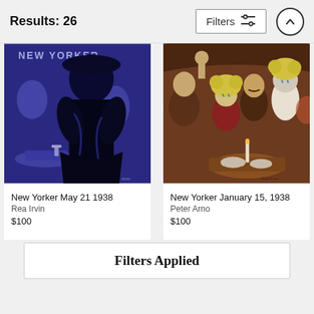Results: 26
Filters
[Figure (illustration): New Yorker May 21 1938 magazine cover art by Rea Irvin showing a dark silhouetted figure in a blue-toned nightclub scene]
New Yorker May 21 1938
Rea Irvin
$100
[Figure (illustration): New Yorker January 15 1938 magazine cover art by Peter Arno showing a crowded restaurant/bar scene with cartoon-style figures in warm brown tones with yellow-haired woman]
New Yorker January 15, 1938
Peter Arno
$100
Filters Applied